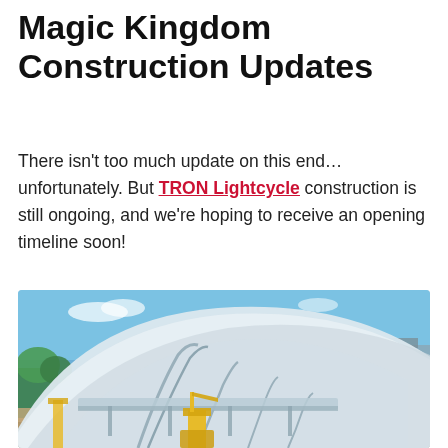Magic Kingdom Construction Updates
There isn't too much update on this end… unfortunately. But TRON Lightcycle construction is still ongoing, and we're hoping to receive an opening timeline soon!
[Figure (photo): Outdoor daytime photo of the TRON Lightcycle construction site at Magic Kingdom, showing the large curved white canopy roof structure with arched steel supports, blue sky background, trees, and construction equipment including a yellow crane in the foreground.]